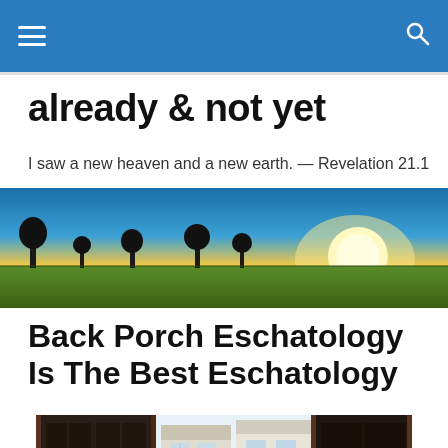Navigation bar with menu and search icons
already & not yet
I saw a new heaven and a new earth. — Revelation 21.1
[Figure (photo): Wide panoramic sunset photo over a green field with silhouetted trees against a gradient sky of blue, yellow, and orange]
Back Porch Eschatology Is The Best Eschatology
[Figure (photo): Photo of a back porch looking out through windows/screens at neighboring brick houses]